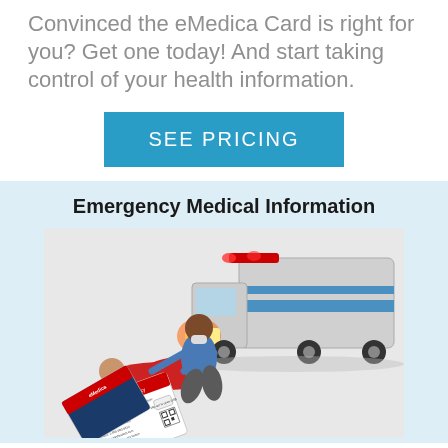Convinced the eMedica Card is right for you? Get one today! And start taking control of your health information.
SEE PRICING
Emergency Medical Information
[Figure (illustration): Illustration of a paramedic performing CPR on a patient lying on the ground, with an ambulance in the background. In the foreground is an eMedica card showing 'In Case of Emergency' information including instructions: plug card into computer and open EMERGENCY.html, Call eMedica 1-855-693-6514, Internet: www.emedicatech.com then press the Emergency button, Scan QR code to the right. There is also a flip-out USB indicator and a QR code.]